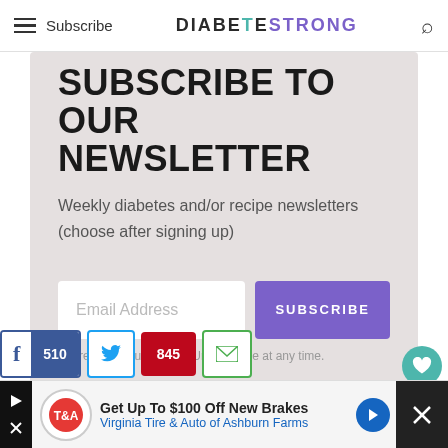Subscribe  DIABETESTRONG
SUBSCRIBE TO OUR NEWSLETTER
Weekly diabetes and/or recipe newsletters (choose after signing up)
Email Address  SUBSCRIBE
We respect your privacy. Unsubscribe at any time.
510  845
[Figure (screenshot): Ad banner: Get Up To $100 Off New Brakes at Virginia Tire & Auto of Ashburn Farms]